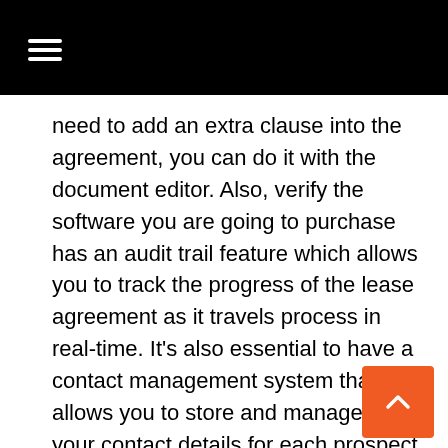need to add an extra clause into the agreement, you can do it with the document editor. Also, verify the software you are going to purchase has an audit trail feature which allows you to track the progress of the lease agreement as it travels process in real-time. It’s also essential to have a contact management system that allows you to store and manage all your contact details for each prospect and tenants. An eSignature software should enable you to configure multiple accounts and allow your team members to access the data and the tools they need to handle their tasks effectively.